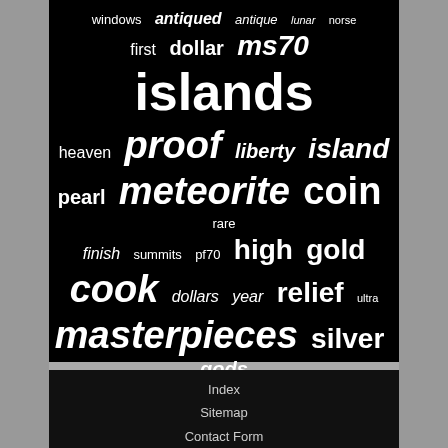[Figure (infographic): Tag cloud / word cloud on black background with words of varying sizes and weights including: windows, antiqued, antique, lunar, norse, first, dollar, ms70, islands, heaven, proof, liberty, island, pearl, meteorite, coin, rare, finish, summits, pf70, high, gold, cook, dollars, year, relief, ultra, masterpieces, silver, gods, pcgs, mother, anniversary, coins, pure]
Index
Sitemap
Contact Form